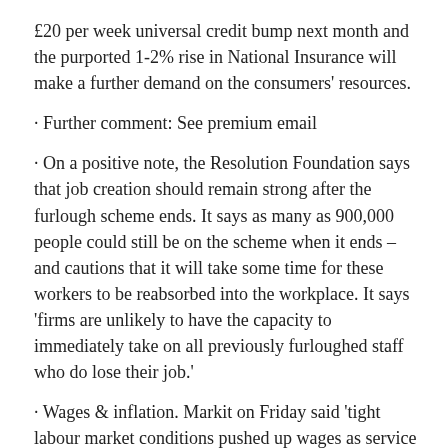£20 per week universal credit bump next month and the purported 1-2% rise in National Insurance will make a further demand on the consumers' resources.
• Further comment: See premium email
• On a positive note, the Resolution Foundation says that job creation should remain strong after the furlough scheme ends. It says as many as 900,000 people could still be on the scheme when it ends – and cautions that it will take some time for these workers to be reabsorbed into the workplace. It says 'firms are unlikely to have the capacity to immediately take on all previously furloughed staff who do lose their job.'
• Wages & inflation. Markit on Friday said 'tight labour market conditions pushed up wages as service sector companies sought to attract and retain employees. The